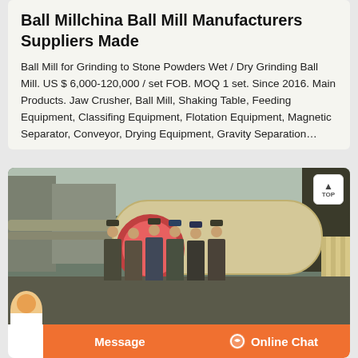Ball Millchina Ball Mill Manufacturers Suppliers Made
Ball Mill for Grinding to Stone Powders Wet / Dry Grinding Ball Mill. US $ 6,000-120,000 / set FOB. MOQ 1 set. Since 2016. Main Products. Jaw Crusher, Ball Mill, Shaking Table, Feeding Equipment, Classifing Equipment, Flotation Equipment, Magnetic Separator, Conveyor, Drying Equipment, Gravity Separation…
[Figure (photo): Industrial ball mill equipment outdoors with a group of workers standing in front of large cylindrical mill machinery, pipes, and a red wheel/gear visible. Industrial building in background.]
Message
Online Chat